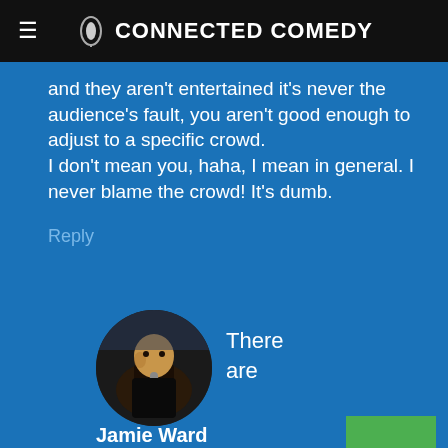CONNECTED COMEDY
and they aren't entertained it's never the audience's fault, you aren't good enough to adjust to a specific crowd.
I don't mean you, haha, I mean in general. I never blame the crowd! It's dumb.
Reply
[Figure (photo): Circular avatar photo of a person on stage against dark background]
There are
Jamie Ward
April 3, 2011
many lines I hate in comedy: "How you